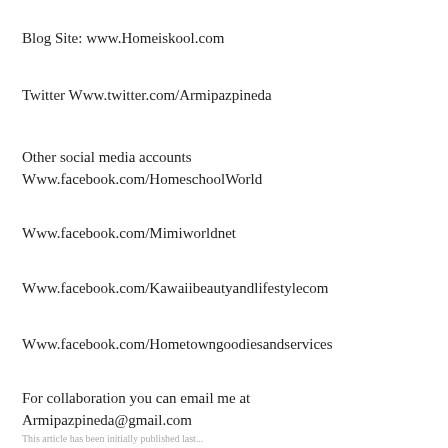Blog Site: www.Homeiskool.com
Twitter Www.twitter.com/Armipazpineda
Other social media accounts
Www.facebook.com/HomeschoolWorld
Www.facebook.com/Mimiworldnet
Www.facebook.com/Kawaiibeautyandlifestylecom
Www.facebook.com/Hometowngoodiesandservices
For collaboration you can email me at
Armipazpineda@gmail.com
This article has been initially published last...